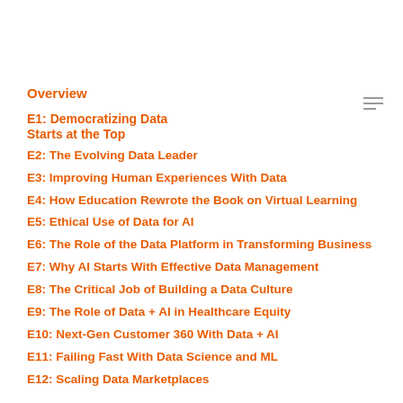Overview
E1: Democratizing Data Starts at the Top
E2: The Evolving Data Leader
E3: Improving Human Experiences With Data
E4: How Education Rewrote the Book on Virtual Learning
E5: Ethical Use of Data for AI
E6: The Role of the Data Platform in Transforming Business
E7: Why AI Starts With Effective Data Management
E8: The Critical Job of Building a Data Culture
E9: The Role of Data + AI in Healthcare Equity
E10: Next-Gen Customer 360 With Data + AI
E11: Failing Fast With Data Science and ML
E12: Scaling Data Marketplaces